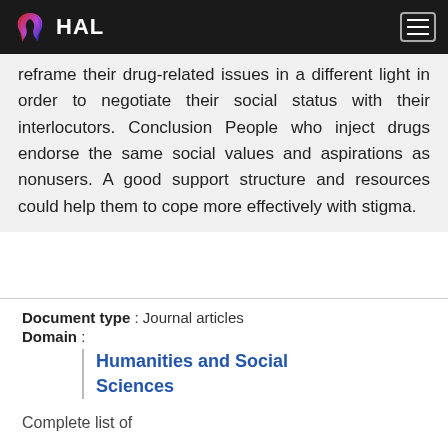HAL
reframe their drug-related issues in a different light in order to negotiate their social status with their interlocutors. Conclusion People who inject drugs endorse the same social values and aspirations as nonusers. A good support structure and resources could help them to cope more effectively with stigma.
Document type : Journal articles
Domain :
Humanities and Social Sciences
Complete list of